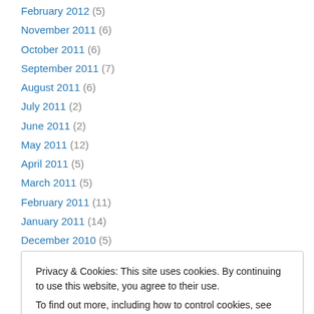February 2012 (5)
November 2011 (6)
October 2011 (6)
September 2011 (7)
August 2011 (6)
July 2011 (2)
June 2011 (2)
May 2011 (12)
April 2011 (5)
March 2011 (5)
February 2011 (11)
January 2011 (14)
December 2010 (5)
Privacy & Cookies: This site uses cookies. By continuing to use this website, you agree to their use. To find out more, including how to control cookies, see here: Cookie Policy